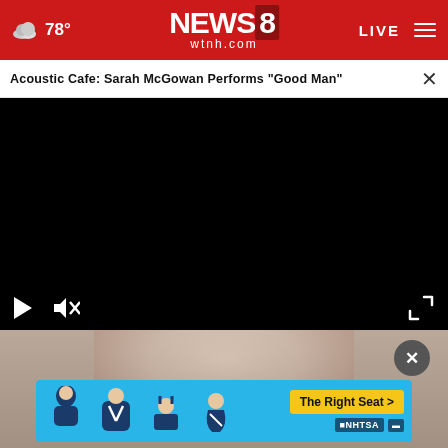NEWS8 wtnh.com — 78° LIVE
Acoustic Cafe: Sarah McGowan Performs "Good Man"
[Figure (screenshot): Black video player area with playback controls (play button, mute button) at the bottom and a fullscreen icon at bottom right]
[Figure (photo): Close-up photo of a person's face, partially visible, with a dark close button (X) overlay at top right]
[Figure (infographic): NHTSA 'The Right Seat' advertisement banner in blue with car seat safety icons and a yellow CTA button]